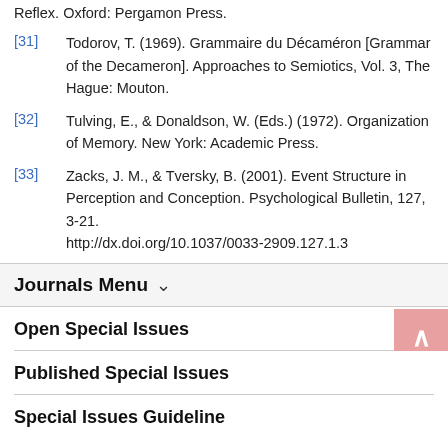Reflex. Oxford: Pergamon Press.
[31] Todorov, T. (1969). Grammaire du Décaméron [Grammar of the Decameron]. Approaches to Semiotics, Vol. 3, The Hague: Mouton.
[32] Tulving, E., & Donaldson, W. (Eds.) (1972). Organization of Memory. New York: Academic Press.
[33] Zacks, J. M., & Tversky, B. (2001). Event Structure in Perception and Conception. Psychological Bulletin, 127, 3-21.
http://dx.doi.org/10.1037/0033-2909.127.1.3
Journals Menu
Open Special Issues
Published Special Issues
Special Issues Guideline